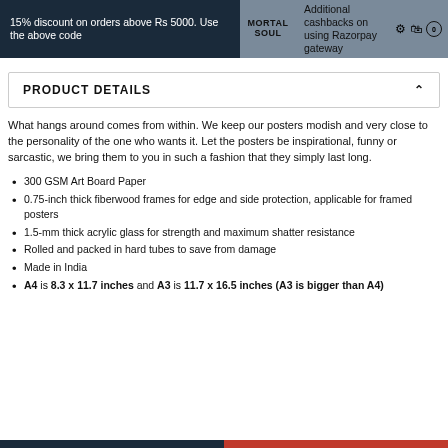15% discount on orders above Rs 5000. Use the above code | Additional cashbacks on using Razorpay gateway
PRODUCT DETAILS
What hangs around comes from within. We keep our posters modish and very close to the personality of the one who wants it. Let the posters be inspirational, funny or sarcastic, we bring them to you in such a fashion that they simply last long.
300 GSM Art Board Paper
0.75-inch thick fiberwood frames for edge and side protection, applicable for framed posters
1.5-mm thick acrylic glass for strength and maximum shatter resistance
Rolled and packed in hard tubes to save from damage
Made in India
A4 is 8.3 x 11.7 inches and A3 is 11.7 x 16.5 inches (A3 is bigger than A4)